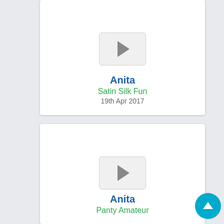[Figure (screenshot): Video card with play button placeholder for Anita - Satin Silk Fun]
Anita
Satin Silk Fun
19th Apr 2017
[Figure (screenshot): Video card with play button placeholder for Anita - Panty Amateur]
Anita
Panty Amateur